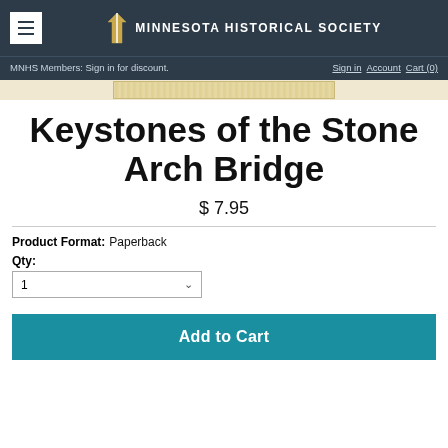MINNESOTA HISTORICAL SOCIETY
MNHS Members: Sign in for discount. Sign in  Account  Cart (0)
[Figure (photo): Partial view of a wooden ruler or book spine in tan/beige color]
Keystones of the Stone Arch Bridge
$ 7.95
Product Format: Paperback
Qty: 1
Add to Cart